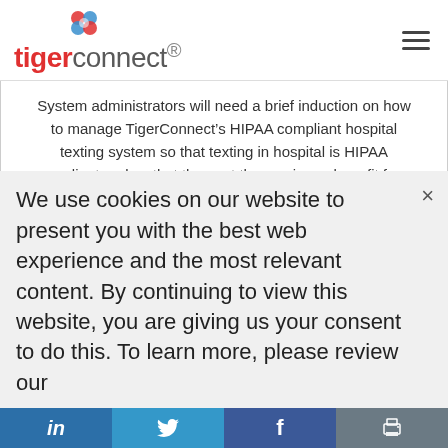tigerconnect
System administrators will need a brief induction on how to manage TigerConnect’s HIPAA compliant hospital texting system so that texting in hospital is HIPAA compliant and so that they get the maximum benefit from usage reports produced by the system.
The TigerConnect encrypted texting platform also has additional benefits which justify the cost of the system, improves efficiency within a hospital
We use cookies on our website to present you with the best web experience and the most relevant content. By continuing to view this website, you are giving us your consent to do this. To learn more, please review our
in  🐦  f  🖨